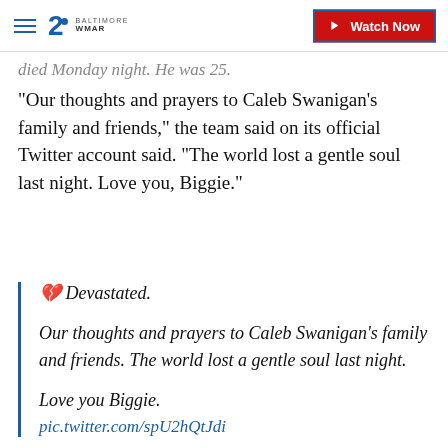WMAR 2 Baltimore | Watch Now
died Monday night. He was 25.
"Our thoughts and prayers to Caleb Swanigan's family and friends," the team said on its official Twitter account said. "The world lost a gentle soul last night. Love you, Biggie."
💔 Devastated.

Our thoughts and prayers to Caleb Swanigan's family and friends. The world lost a gentle soul last night.

Love you Biggie.

pic.twitter.com/spU2hQtJdi